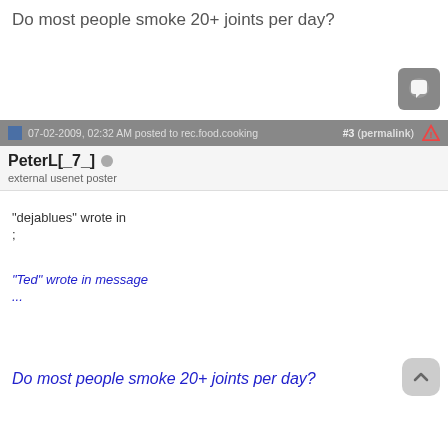Do most people smoke 20+ joints per day?
07-02-2009, 02:32 AM posted to rec.food.cooking  #3 (permalink)
PeterL[_7_]
external usenet poster
"dejablues" wrote in
;
"Ted" wrote in message
...
Do most people smoke 20+ joints per day?